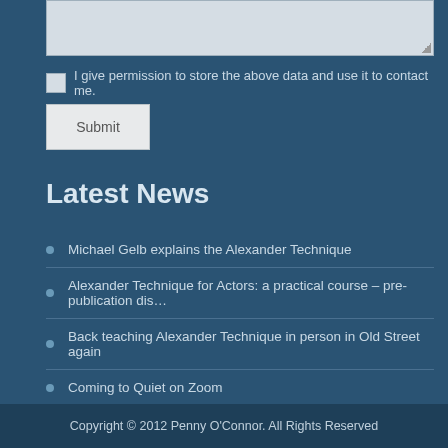[Figure (screenshot): Text area input box (form element)]
I give permission to store the above data and use it to contact me.
Submit
Latest News
Michael Gelb explains the Alexander Technique
Alexander Technique for Actors: a practical course – pre-publication dis…
Back teaching Alexander Technique in person in Old Street again
Coming to Quiet on Zoom
Alexander Technique semi-supine lie down for all!
Copyright © 2012 Penny O'Connor. All Rights Reserved